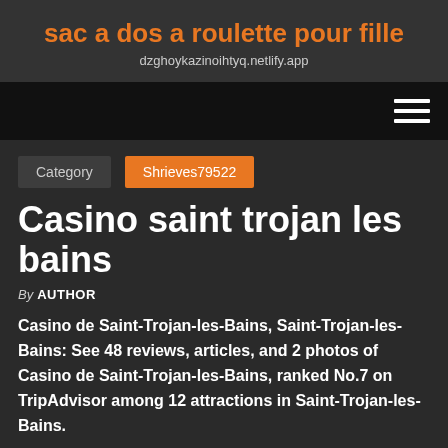sac a dos a roulette pour fille
dzghoykazinoihtyq.netlify.app
Category  Shrieves79522
Casino saint trojan les bains
By AUTHOR
Casino de Saint-Trojan-les-Bains, Saint-Trojan-les-Bains: See 48 reviews, articles, and 2 photos of Casino de Saint-Trojan-les-Bains, ranked No.7 on TripAdvisor among 12 attractions in Saint-Trojan-les-Bains.